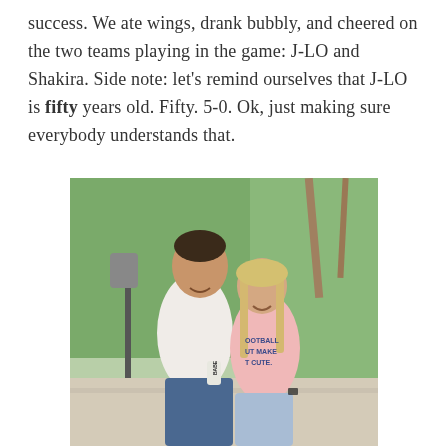success. We ate wings, drank bubbly, and cheered on the two teams playing in the game: J-LO and Shakira. Side note: let's remind ourselves that J-LO is fifty years old. Fifty. 5-0. Ok, just making sure everybody understands that.
[Figure (photo): A couple posing outdoors with palm trees in background. The man is wearing a white t-shirt and jeans, holding a can labeled 'BABE'. The woman is wearing a pink t-shirt reading 'FOOTBALL BUT MAKE IT CUTE.' and light jeans.]